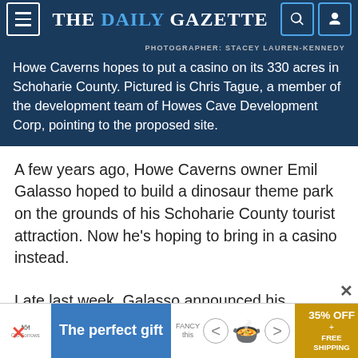THE DAILY GAZETTE
PHOTOGRAPHER: STACEY LAUREN-KENNEDY
Howe Caverns hopes to put a casino on its 330 acres in Schoharie County. Pictured is Chris Tague, a member of the development team of Howes Cave Development Corp, pointing to the proposed site.
A few years ago, Howe Caverns owner Emil Galasso hoped to build a dinosaur theme park on the grounds of his Schoharie County tourist attraction. Now he's hoping to bring in a casino instead.
Late last week, Galasso announced his intention to market a 330-acre section of his Howe Caverns land in the town of Cobleskill to developers who